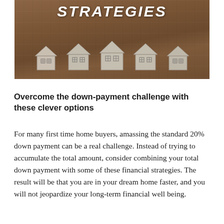[Figure (photo): Photo of five small cardboard house cutouts arranged in a row on a wooden surface, with the word STRATEGIES in large bold white italic text at the top of the image.]
Overcome the down-payment challenge with these clever options
For many first time home buyers, amassing the standard 20% down payment can be a real challenge. Instead of trying to accumulate the total amount, consider combining your total down payment with some of these financial strategies. The result will be that you are in your dream home faster, and you will not jeopardize your long-term financial well being.